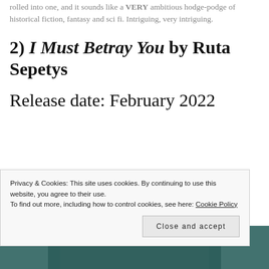rolled into one, and it sounds like a VERY ambitious hodge-podge of historical fiction, fantasy and sci fi. Intriguing, very intriguing.
2) I Must Betray You by Ruta Sepetys
Release date: February 2022
[Figure (photo): Partial book cover image visible at the bottom of the page, teal/dark green tones]
Privacy & Cookies: This site uses cookies. By continuing to use this website, you agree to their use. To find out more, including how to control cookies, see here: Cookie Policy
Close and accept